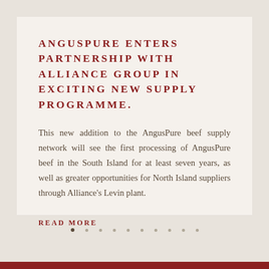ANGUSPURE ENTERS PARTNERSHIP WITH ALLIANCE GROUP IN EXCITING NEW SUPPLY PROGRAMME.
This new addition to the AngusPure beef supply network will see the first processing of AngusPure beef in the South Island for at least seven years, as well as greater opportunities for North Island suppliers through Alliance's Levin plant.
READ MORE